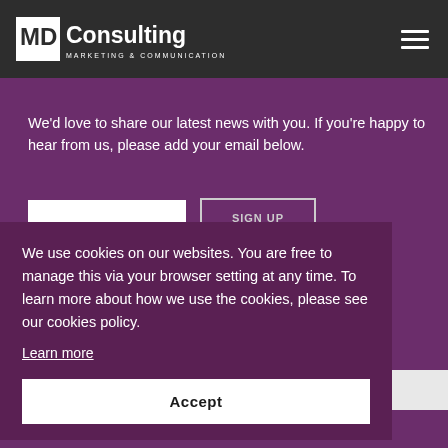[Figure (logo): MD Consulting Marketing & Communication logo in white on dark header bar]
We'd love to share our latest news with you. If you're happy to hear from us, please add your email below.
We use cookies on our websites. You are free to manage this via your browser setting at any time. To learn more about how we use the cookies, please see our cookies policy.
Learn more
Accept
+44 (0)203 393 0353